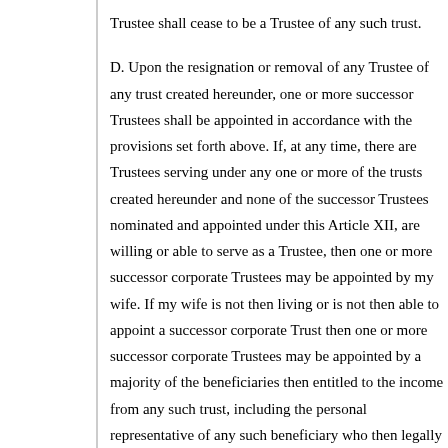Trustee shall cease to be a Trustee of any such trust.
D. Upon the resignation or removal of any Trustee of any trust created hereunder, one or more successor Trustees shall be appointed in accordance with the provisions set forth above. If, at any time, there are Trustees serving under any one or more of the trusts created hereunder and none of the successor Trustees nominated and appointed under this Article XII, are willing or able to serve as a Trustee, then one or more successor corporate Trustees may be appointed by my wife. If my wife is not then living or is not then able to appoint a successor corporate Trustee, then one or more successor corporate Trustees may be appointed by a majority of the beneficiaries then entitled to the income from any such trust, including the personal representative of any such beneficiary who is then legally incompetent.
E. The Trustee shall render periodically to each individual who is then an income beneficiary under any trust created hereunder, a statement of account showing all receipts, disbursements and distributions of both